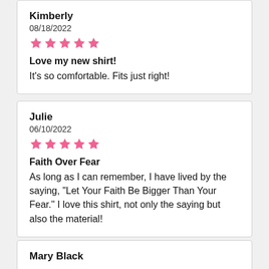Kimberly
08/18/2022
★★★★★
Love my new shirt!
It's so comfortable. Fits just right!
Julie
06/10/2022
★★★★★
Faith Over Fear
As long as I can remember, I have lived by the saying, "Let Your Faith Be Bigger Than Your Fear." I love this shirt, not only the saying but also the material!
Mary Black